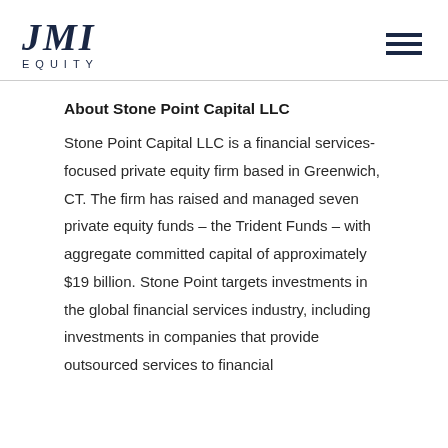[Figure (logo): JMI Equity logo with large serif JMI text and smaller spaced EQUITY text below]
About Stone Point Capital LLC
Stone Point Capital LLC is a financial services-focused private equity firm based in Greenwich, CT. The firm has raised and managed seven private equity funds – the Trident Funds – with aggregate committed capital of approximately $19 billion. Stone Point targets investments in the global financial services industry, including investments in companies that provide outsourced services to financial